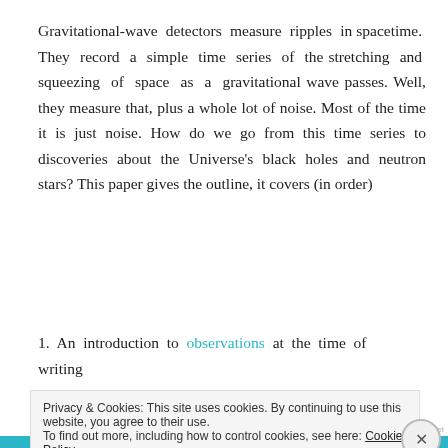Gravitational-wave detectors measure ripples in spacetime. They record a simple time series of the stretching and squeezing of space as a gravitational wave passes. Well, they measure that, plus a whole lot of noise. Most of the time it is just noise. How do we go from this time series to discoveries about the Universe's black holes and neutron stars? This paper gives the outline, it covers (in order)
1. An introduction to observations at the time of writing
Privacy & Cookies: This site uses cookies. By continuing to use this website, you agree to their use.
To find out more, including how to control cookies, see here: Cookie Policy

Close and accept